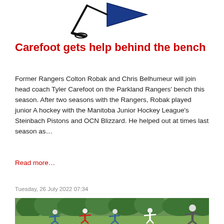[Figure (logo): Parkland Rangers logo — hockey stick and puck with blue pennant flag]
Carefoot gets help behind the bench
Former Rangers Colton Robak and Chris Belhumeur will join head coach Tyler Carefoot on the Parkland Rangers' bench this season. After two seasons with the Rangers, Robak played junior A hockey with the Manitoba Junior Hockey League's Steinbach Pistons and OCN Blizzard. He helped out at times last season as…
Read more…
Tuesday, 26 July 2022 07:34
[Figure (photo): Outdoor soccer or sports scene with players on a field with green trees in background]